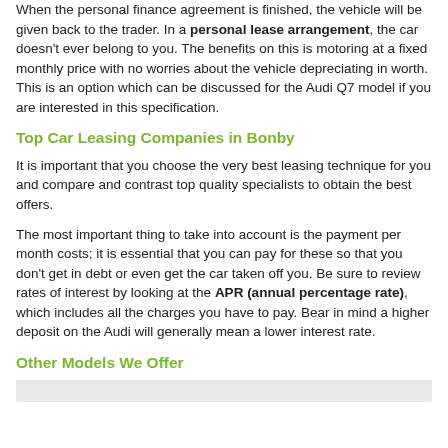When the personal finance agreement is finished, the vehicle will be given back to the trader. In a personal lease arrangement, the car doesn't ever belong to you. The benefits on this is motoring at a fixed monthly price with no worries about the vehicle depreciating in worth. This is an option which can be discussed for the Audi Q7 model if you are interested in this specification.
Top Car Leasing Companies in Bonby
It is important that you choose the very best leasing technique for you and compare and contrast top quality specialists to obtain the best offers.
The most important thing to take into account is the payment per month costs; it is essential that you can pay for these so that you don't get in debt or even get the car taken off you. Be sure to review rates of interest by looking at the APR (annual percentage rate), which includes all the charges you have to pay. Bear in mind a higher deposit on the Audi will generally mean a lower interest rate.
Other Models We Offer